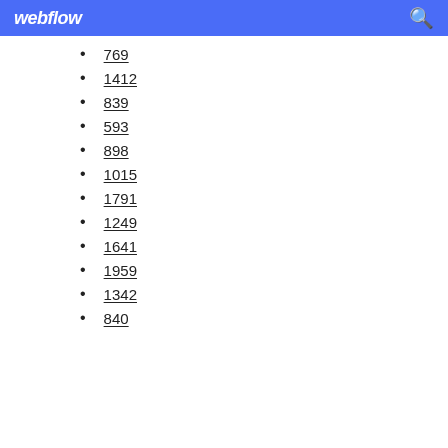webflow
769
1412
839
593
898
1015
1791
1249
1641
1959
1342
840